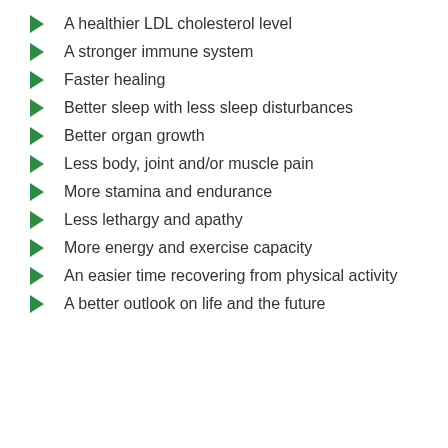A healthier LDL cholesterol level
A stronger immune system
Faster healing
Better sleep with less sleep disturbances
Better organ growth
Less body, joint and/or muscle pain
More stamina and endurance
Less lethargy and apathy
More energy and exercise capacity
An easier time recovering from physical activity
A better outlook on life and the future